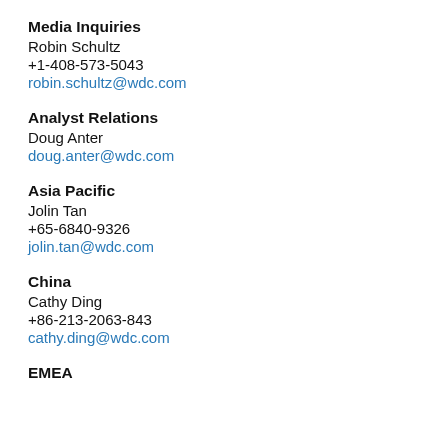Media Inquiries
Robin Schultz
+1-408-573-5043
robin.schultz@wdc.com
Analyst Relations
Doug Anter
doug.anter@wdc.com
Asia Pacific
Jolin Tan
+65-6840-9326
jolin.tan@wdc.com
China
Cathy Ding
+86-213-2063-843
cathy.ding@wdc.com
EMEA